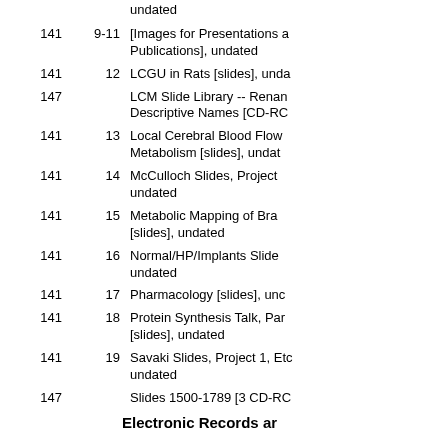undated
141  9-11  [Images for Presentations and Publications], undated
141  12  LCGU in Rats [slides], undated
147      LCM Slide Library -- Renamed Descriptive Names [CD-ROM]
141  13  Local Cerebral Blood Flow and Metabolism [slides], undated
141  14  McCulloch Slides, Project undated
141  15  Metabolic Mapping of Brain [slides], undated
141  16  Normal/HP/Implants Slides, undated
141  17  Pharmacology [slides], undated
141  18  Protein Synthesis Talk, Part [slides], undated
141  19  Savaki Slides, Project 1, Etc., undated
147      Slides 1500-1789 [3 CD-ROM]
Electronic Records and